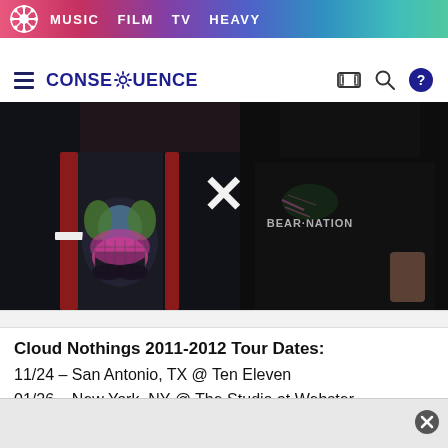MUSIC  FILM  TV  HEAVY
CONSEQUENCE
[Figure (photo): Two people wearing band merchandise — one in a black hockey-style jersey with colorful skull graphic, another in a black Bear Nation t-shirt. A white X is overlaid between them.]
Cloud Nothings 2011-2012 Tour Dates:
11/24 – San Antonio, TX @ Ten Eleven
01/26 – New York, NY @ The Studio at Webster